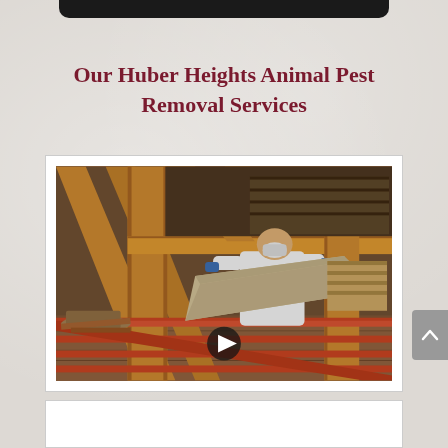Our Huber Heights Animal Pest Removal Services
[Figure (photo): A worker in a white protective suit and mask removing insulation material in an attic with wooden beam framing structure]